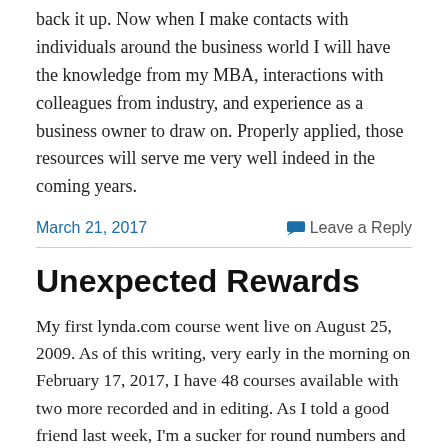back it up. Now when I make contacts with individuals around the business world I will have the knowledge from my MBA, interactions with colleagues from industry, and experience as a business owner to draw on. Properly applied, those resources will serve me very well indeed in the coming years.
March 21, 2017
Leave a Reply
Unexpected Rewards
My first lynda.com course went live on August 25, 2009. As of this writing, very early in the morning on February 17, 2017, I have 48 courses available with two more recorded and in editing. As I told a good friend last week, I'm a sucker for round numbers and milestones. For